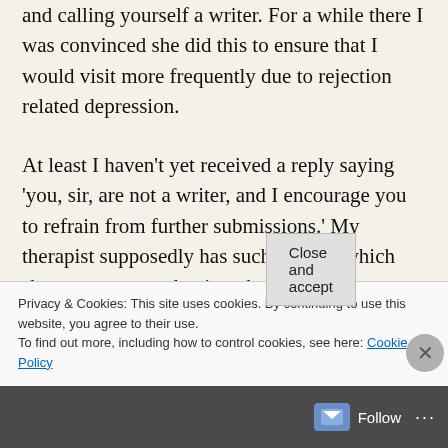and calling yourself a writer. For a while there I was convinced she did this to ensure that I would visit more frequently due to rejection related depression.

At least I haven't yet received a reply saying 'you, sir, are not a writer, and I encourage you to refrain from further submissions.' My therapist supposedly has such a letter, which she says stung at the time, but which
Privacy & Cookies: This site uses cookies. By continuing to use this website, you agree to their use.
To find out more, including how to control cookies, see here: Cookie Policy
Close and accept
Follow